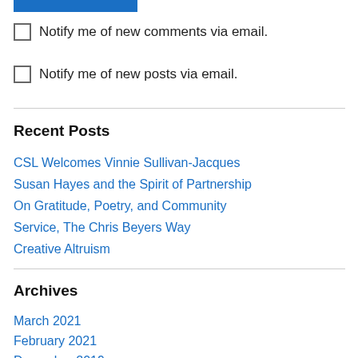[Figure (other): Blue rectangular button/bar at top]
Notify me of new comments via email.
Notify me of new posts via email.
Recent Posts
CSL Welcomes Vinnie Sullivan-Jacques
Susan Hayes and the Spirit of Partnership
On Gratitude, Poetry, and Community
Service, The Chris Beyers Way
Creative Altruism
Archives
March 2021
February 2021
December 2019